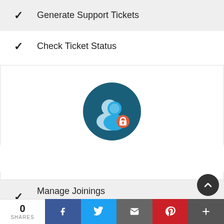Generate Support Tickets
Check Ticket Status
[Figure (illustration): Super Admin Login icon: dark teal circle with a person/user icon in blue and white, with a red lock badge, and text below reading SUPER ADMIN LOGIN]
Manage Joinings (Block/Modify/Delete/Reset Passwords)
Send/Resend Email & SMS
0 SHARES  f  Twitter  Email  Pinterest  +